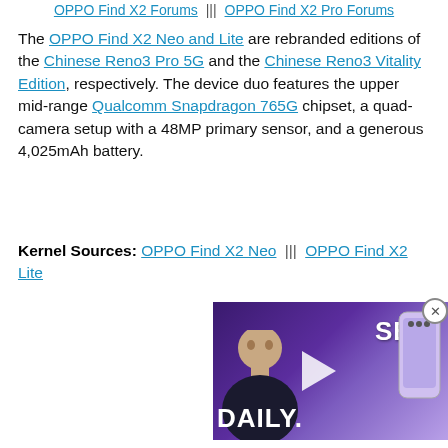OPPO Find X2 Forums ||| OPPO Find X2 Pro Forums
The OPPO Find X2 Neo and Lite are rebranded editions of the Chinese Reno3 Pro 5G and the Chinese Reno3 Vitality Edition, respectively. The device duo features the upper mid-range Qualcomm Snapdragon 765G chipset, a quad-camera setup with a 48MP primary sensor, and a generous 4,025mAh battery.
Kernel Sources: OPPO Find X2 Neo ||| OPPO Find X2 Lite
[Figure (screenshot): Video thumbnail showing a person and text 'SEP? DAILY.' with a purple smartphone on a purple background and a play button overlay.]